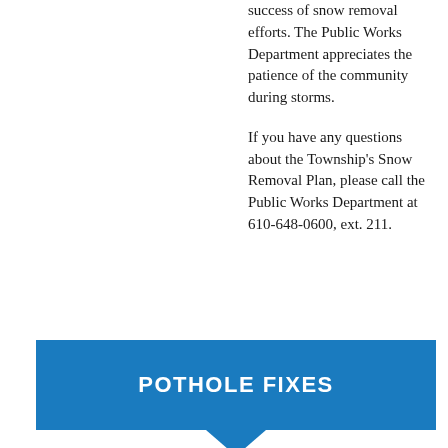success of snow removal efforts. The Public Works Department appreciates the patience of the community during storms.

If you have any questions about the Township's Snow Removal Plan, please call the Public Works Department at 610-648-0600, ext. 211.
POTHOLE FIXES